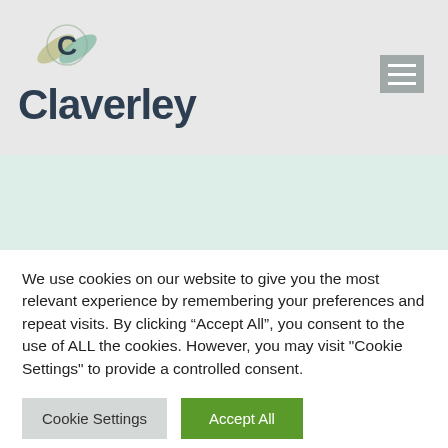[Figure (logo): Claverley logo with circular C icon and bold text 'Claverley']
[Figure (other): Hamburger menu icon (three horizontal lines) in grey box]
We use cookies on our website to give you the most relevant experience by remembering your preferences and repeat visits. By clicking “Accept All”, you consent to the use of ALL the cookies. However, you may visit "Cookie Settings" to provide a controlled consent.
Cookie Settings | Accept All